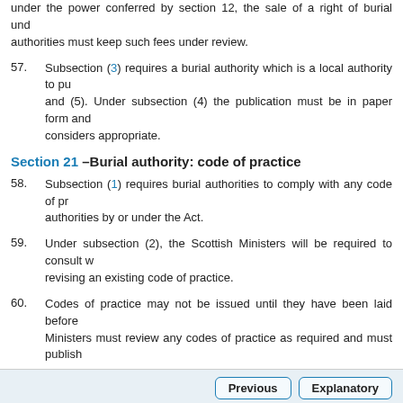under the power conferred by section 12, the sale of a right of burial under... authorities must keep such fees under review.
57. Subsection (3) requires a burial authority which is a local authority to pu... and (5). Under subsection (4) the publication must be in paper form and... considers appropriate.
Section 21 –Burial authority: code of practice
58. Subsection (1) requires burial authorities to comply with any code of pr... authorities by or under the Act.
59. Under subsection (2), the Scottish Ministers will be required to consult w... revising an existing code of practice.
60. Codes of practice may not be issued until they have been laid before... Ministers must review any codes of practice as required and must publish...
Help  About Us  Site Map  Accessibility  Contact Us  Privacy Notice
All content is available under the Open Government Licence v3.0 except where g... from EUR-Lex, reused under the terms of the Commission Decision 2011/833/EU on the reu... see the EUR-Lex public statement on re-use.